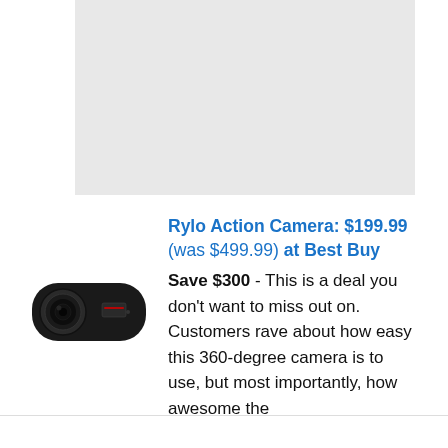[Figure (other): Gray placeholder advertisement box]
[Figure (photo): Rylo Action Camera product photo — a small black rounded rectangular action camera with a wide-angle lens on the left side]
Rylo Action Camera: $199.99 (was $499.99) at Best Buy
Save $300 - This is a deal you don't want to miss out on. Customers rave about how easy this 360-degree camera is to use, but most importantly, how awesome the